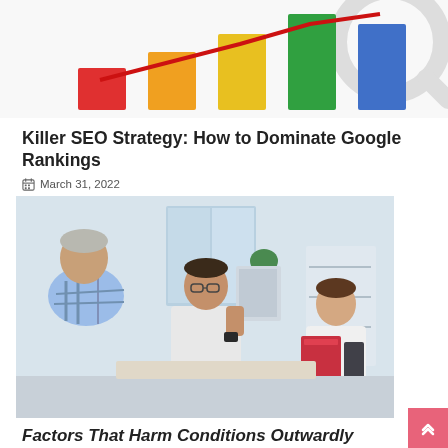[Figure (bar-chart): SEO bar chart graphic with colored bars (red, orange, yellow, green, blue) and upward trending red line on white background with a magnifying glass graphic]
Killer SEO Strategy: How to Dominate Google Rankings
March 31, 2022
[Figure (photo): Medical consultation scene: elderly patient on left, doctor in center holding up an X-ray image, nurse/assistant on right holding a red folder, in a bright white clinical setting]
Factors That Harm Conditions Outwardly